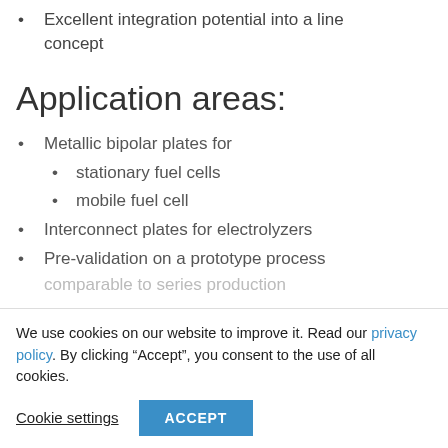Excellent integration potential into a line concept
Application areas:
Metallic bipolar plates for
stationary fuel cells
mobile fuel cell
Interconnect plates for electrolyzers
Pre-validation on a prototype process
comparable to series production
We use cookies on our website to improve it. Read our privacy policy. By clicking “Accept”, you consent to the use of all cookies.
Cookie settings
ACCEPT